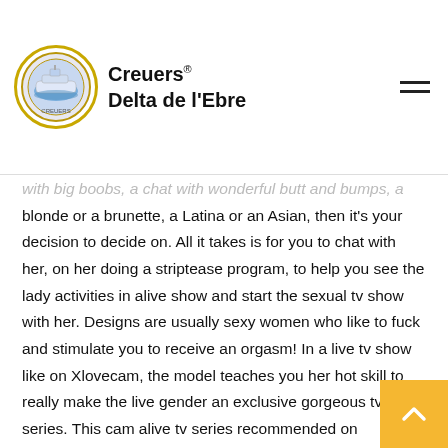Creuers Delta de l'Ebre
with big boobs, a chat with wonderful butt and bumps, a blonde or a brunette, a Latina or an Asian, then it's your decision to decide on. All it takes is for you to chat with her, on her doing a striptease program, to help you see the lady activities in alive show and start the sexual tv show with her. Designs are usually sexy women who like to fuck and stimulate you to receive an orgasm! In a live tv show like on Xlovecam, the model teaches you her hot skill to really make the live gender an exclusive gorgeous tv series. This cam alive tv series recommended on Xlovecam system provides you with a way to take pleasure in a truly unique tv series and complimentary amateur chats and novice shows making use of the m